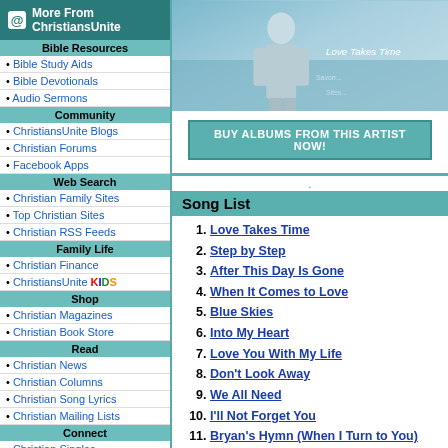[Figure (photo): Album cover image for 'Love Takes Time' showing a person in a light suit in a blue-toned scene]
BUY ALBUMS FROM THIS ARTIST NOW!
Song List
1. Love Takes Time
2. Step by Step
3. After This Day Is Gone
4. When It Comes to Love
5. Blue Skies
6. Into My Heart
7. Love You With My Life
8. Don't Look Away
9. We All Need
10. I'll Not Forget You
11. Bryan's Hymn (When I Turn to You)
12. You Don't Leave Me Lonely
13. Things Are Gonna Change
More From ChristiansUnite
Bible Resources
• Bible Study Aids
• Bible Devotionals
• Audio Sermons
Community
• ChristiansUnite Blogs
• Christian Forums
• Facebook Apps
Web Search
• Christian Family Sites
• Top Christian Sites
• Christian RSS Feeds
Family Life
• Christian Finance
• ChristiansUnite KIDS
Shop
• Christian Magazines
• Christian Book Store
Read
• Christian News
• Christian Columns
• Christian Song Lyrics
• Christian Mailing Lists
Connect
• Christian Singles
• Christian Classifieds
Graphics
• Free Christian Clipart
• Christian Wallpaper
Fun Stuff
• Clean Christian Jokes